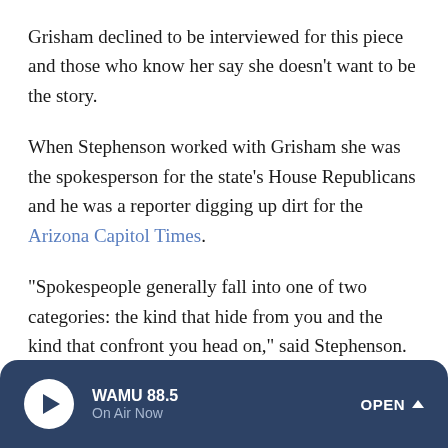Grisham declined to be interviewed for this piece and those who know her say she doesn't want to be the story.
When Stephenson worked with Grisham she was the spokesperson for the state's House Republicans and he was a reporter digging up dirt for the Arizona Capitol Times.
"Spokespeople generally fall into one of two categories: the kind that hide from you and the kind that confront you head on," said Stephenson. "Grisham was definitely in the latter category."
That is to say, she responds quickly to emails and is generally available to reporters. She was previously married
WAMU 88.5 On Air Now OPEN